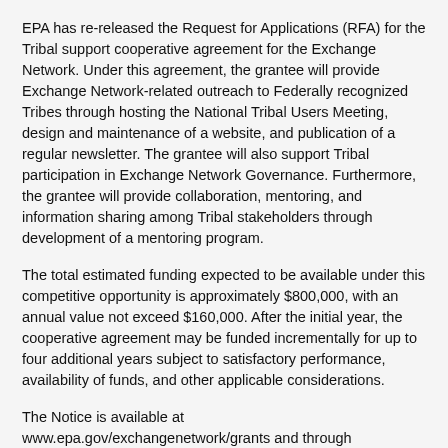EPA has re-released the Request for Applications (RFA) for the Tribal support cooperative agreement for the Exchange Network. Under this agreement, the grantee will provide Exchange Network-related outreach to Federally recognized Tribes through hosting the National Tribal Users Meeting, design and maintenance of a website, and publication of a regular newsletter. The grantee will also support Tribal participation in Exchange Network Governance. Furthermore, the grantee will provide collaboration, mentoring, and information sharing among Tribal stakeholders through development of a mentoring program.
The total estimated funding expected to be available under this competitive opportunity is approximately $800,000, with an annual value not exceed $160,000. After the initial year, the cooperative agreement may be funded incrementally for up to four additional years subject to satisfactory performance, availability of funds, and other applicable considerations.
The Notice is available at www.epa.gov/exchangenetwork/grants and through grants.gov. Applications are due August 30, 2013. Questions should be directed to EPA's Salena Reynolds by phone at 202.566.0466 or email at reynolds.salena [at] epa.gov.
Salena Reynolds
U.S. Environmental Protection Agency
P: 202.566.0466
E: reynolds.salena [at] epa.gov